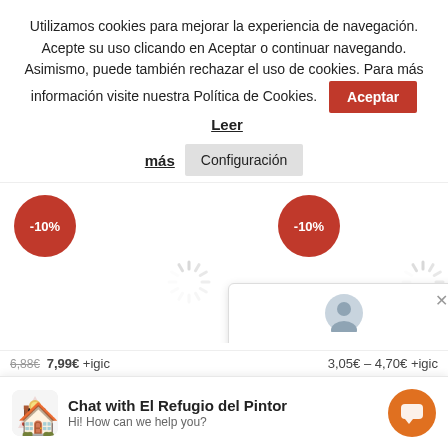Utilizamos cookies para mejorar la experiencia de navegación. Acepte su uso clicando en Aceptar o continuar navegando. Asimismo, puede también rechazar el uso de cookies. Para más información visite nuestra Política de Cookies.
Aceptar
Leer más
Configuración
[Figure (infographic): Two red circular discount badges showing -10% each, with loading spinner icons below them]
[Figure (screenshot): Chat popup with user avatar, close button, and text 'Dime que y te diré como']
Dime que y te diré como
Chat with El Refugio del Pintor
Hi! How can we help you?
6,88€ 7,99€ +igic
3,05€ – 4,70€ +igic